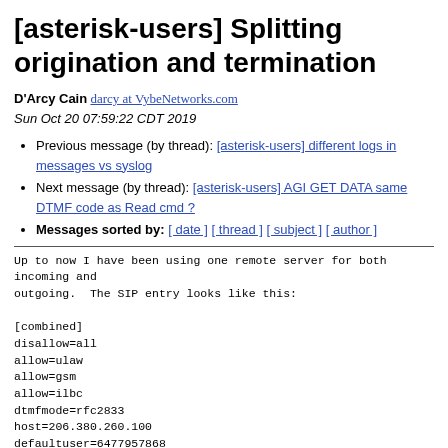[asterisk-users] Splitting origination and termination
D'Arcy Cain darcy at VybeNetworks.com
Sun Oct 20 07:59:22 CDT 2019
Previous message (by thread): [asterisk-users] different logs in messages vs syslog
Next message (by thread): [asterisk-users] AGI GET DATA same DTMF code as Read cmd ?
Messages sorted by: [ date ] [ thread ] [ subject ] [ author ]
Up to now I have been using one remote server for both incoming and
outgoing.  The SIP entry looks like this:

[combined]
disallow=all
allow=ulaw
allow=gsm
allow=ilbc
dtmfmode=rfc2833
host=206.380.260.100
defaultuser=6477957868